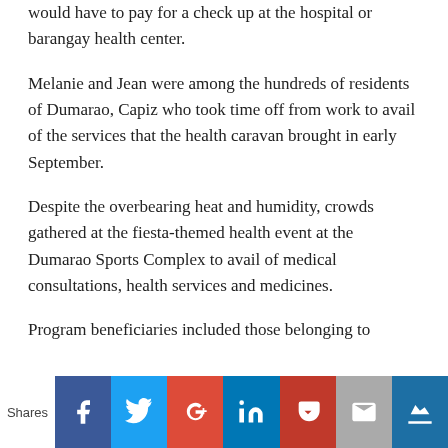would have to pay for a check up at the hospital or barangay health center.
Melanie and Jean were among the hundreds of residents of Dumarao, Capiz who took time off from work to avail of the services that the health caravan brought in early September.
Despite the overbearing heat and humidity, crowds gathered at the fiesta-themed health event at the Dumarao Sports Complex to avail of medical consultations, health services and medicines.
Program beneficiaries included those belonging to
[Figure (infographic): Social sharing bar with Shares label and buttons for Facebook, Twitter, Google+, LinkedIn, Pocket, Email, and another share icon]